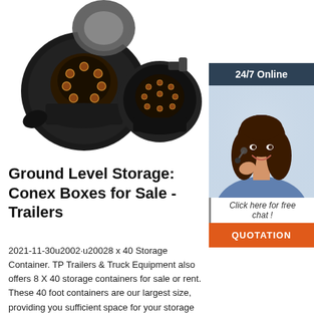[Figure (photo): Two black trailer electrical connector plugs (7-pin and 13-pin round connectors) photographed on white background]
[Figure (infographic): 24/7 online chat sidebar with a smiling woman wearing a headset, 'Click here for free chat!' text, and orange QUOTATION button]
Ground Level Storage: Conex Boxes for Sale - Trailers
2021-11-30u2002·u20028 x 40 Storage Container. TP Trailers & Truck Equipment also offers 8 X 40 storage containers for sale or rent. These 40 foot containers are our largest size, providing you sufficient space for your storage needs. The expanded dimensions make this 40 foot container a great buy when you need to